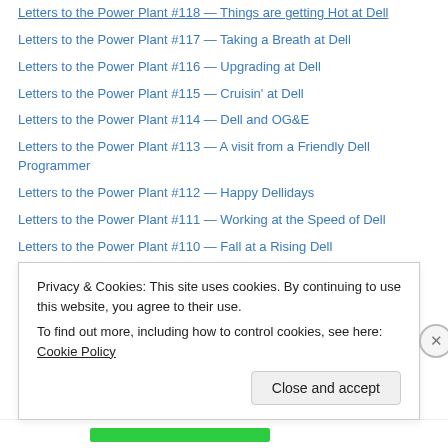Letters to the Power Plant #118 — Things are getting Hot at Dell
Letters to the Power Plant #117 — Taking a Breath at Dell
Letters to the Power Plant #116 — Upgrading at Dell
Letters to the Power Plant #115 — Cruisin' at Dell
Letters to the Power Plant #114 — Dell and OG&E
Letters to the Power Plant #113 — A visit from a Friendly Dell Programmer
Letters to the Power Plant #112 — Happy Dellidays
Letters to the Power Plant #111 — Working at the Speed of Dell
Letters to the Power Plant #110 — Fall at a Rising Dell
Letters to the Power Plant #109 — Dellections are Over
Letters to the Power Plant #108 — Support Rat at Dell
Letters to the Power Plant #107 — More Training at Dell
Privacy & Cookies: This site uses cookies. By continuing to use this website, you agree to their use.
To find out more, including how to control cookies, see here: Cookie Policy